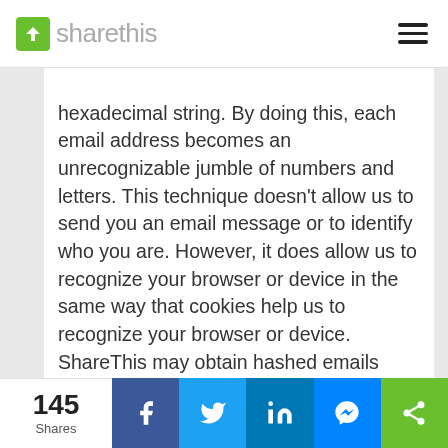sharethis
hexadecimal string. By doing this, each email address becomes an unrecognizable jumble of numbers and letters. This technique doesn’t allow us to send you an email message or to identify who you are. However, it does allow us to recognize your browser or device in the same way that cookies help us to recognize your browser or device. ShareThis may obtain hashed emails from our ac
145 Shares | Facebook | Twitter | LinkedIn | Messenger | ShareThis